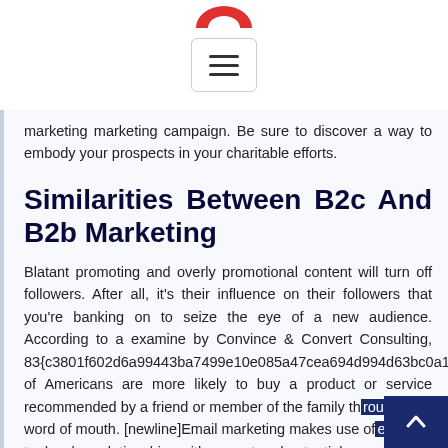[Figure (logo): Partial red logo/icon at top center]
[Figure (screenshot): Hamburger menu button (three horizontal lines) inside a rounded rectangle border]
marketing marketing campaign. Be sure to discover a way to embody your prospects in your charitable efforts.
Similarities Between B2c And B2b Marketing
Blatant promoting and overly promotional content will turn off followers. After all, it's their influence on their followers that you're banking on to seize the eye of a new audience. According to a examine by Convince & Convert Consulting, 83{c3801f602d6a99443ba7499e10e085a47cea694d994d63bc0a1 of Americans are more likely to buy a product or service recommended by a friend or member of the family through word of mouth. [newline]Email marketing makes use of email to develop relationships with current and potential prospects